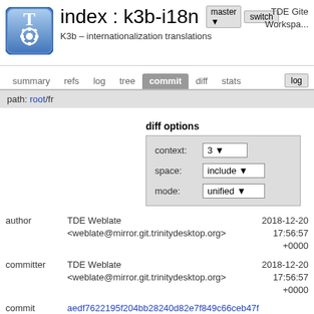index : k3b-i18n
K3b – internationalization translations
TDE Gite Workspa...
summary  refs  log  tree  commit  diff  stats  log
path: root/fr
diff options
context: 3
space: include
mode: unified
author  TDE Weblate <weblate@mirror.git.trinitydesktop.org>  2018-12-20 17:56:57 +0000
committer  TDE Weblate <weblate@mirror.git.trinitydesktop.org>  2018-12-20 17:56:57 +0000
commit  aedf7622195f204bb28240d82e7f849c66ceb47f (patch)
tree  c9790838313d0a87c98c571fea9cfa689b847288  /fr